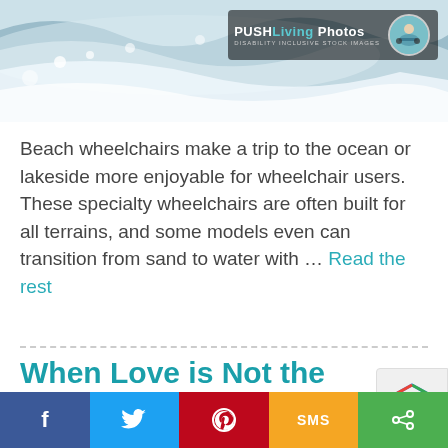[Figure (photo): Ocean waves / beach scene with PUSHLiving Photos watermark badge and person in wheelchair circle avatar]
Beach wheelchairs make a trip to the ocean or lakeside more enjoyable for wheelchair users. These specialty wheelchairs are often built for all terrains, and some models even can transition from sand to water with … Read the rest
When Love is Not the Answer: How the Dating Coach became the Life Coach Instead
[Figure (logo): reCAPTCHA logo badge]
[Figure (infographic): Social share bar with Facebook, Twitter, Pinterest, SMS, and generic share buttons]